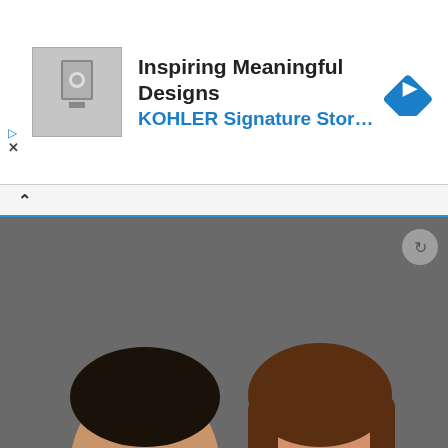[Figure (screenshot): Top advertisement banner: thumbnail image of bathroom fixtures on left, text 'Inspiring Meaningful Designs' and 'KOHLER Signature Store by GR...' in center, blue diamond navigation icon on right. White background.]
[Figure (photo): Photo of two people (a man on the left in red shirt, a woman on the right in red top) smiling, dark background. Article thumbnail photo.]
ia Salvador recalls toxic relationship with Gerald
[Figure (screenshot): Bottom advertisement: 'CDG for Developers—Simplified'. Body text: 'Dedicated DG policy team shaping the future of the Distributed Generation market'. Sponsor: 'Ampion Renweable Energy'. Blue 'Apply Now' button.]